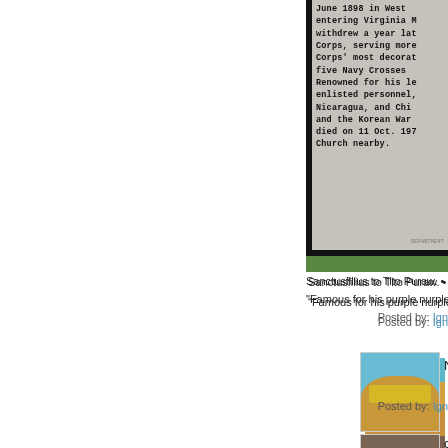[Figure (photo): Cropped photo of a historical marker sign with text about someone born June 1898 in West Virginia, entering Virginia M..., withdrew a year later, Corps, serving more, Corps' most decorated, five Navy Crosses, Renowned for his leadership, enlisted personnel, Nicaragua, and China, and the Korean War, died on 11 Oct. 197..., Church nearby. Department of [something] attribution at bottom. Sign mounted on black post with green grass background.]
Sanctusfilius to Tito Puraw. •
"Famous for his purple nurple
Posted by: Ign
[Figure (photo): Small avatar thumbnail showing a body in a yellow swimsuit/bikini bottom, teal/blue background.]
No.
Posted by: Ign
[Figure (photo): Small avatar thumbnail showing a vintage photo of two or three people with afro hairstyles.]
ccgirl,